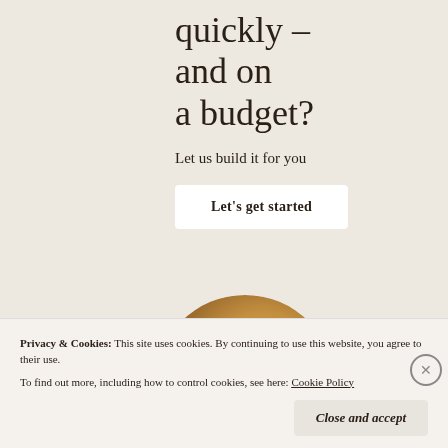quickly – and on a budget?
Let us build it for you
Let's get started
[Figure (photo): Partial circular photo showing a person wearing a golden/brown knit sweater, cropped to show top of head and hands]
Privacy & Cookies:  This site uses cookies. By continuing to use this website, you agree to their use.
To find out more, including how to control cookies, see here: Cookie Policy
Close and accept